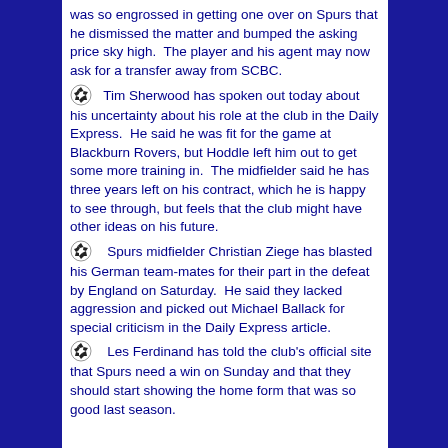was so engrossed in getting one over on Spurs that he dismissed the matter and bumped the asking price sky high. The player and his agent may now ask for a transfer away from SCBC.
Tim Sherwood has spoken out today about his uncertainty about his role at the club in the Daily Express. He said he was fit for the game at Blackburn Rovers, but Hoddle left him out to get some more training in. The midfielder said he has three years left on his contract, which he is happy to see through, but feels that the club might have other ideas on his future.
Spurs midfielder Christian Ziege has blasted his German team-mates for their part in the defeat by England on Saturday. He said they lacked aggression and picked out Michael Ballack for special criticism in the Daily Express article.
Les Ferdinand has told the club's official site that Spurs need a win on Sunday and that they should start showing the home form that was so good last season.